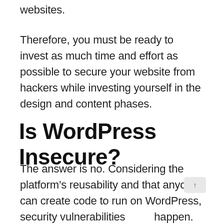websites.
Therefore, you must be ready to invest as much time and effort as possible to secure your website from hackers while investing yourself in the design and content phases.
Is WordPress Insecure?
The answer is no. Considering the platform’s reusability and that anyone can create code to run on WordPress, security vulnerabilities happen. Whenever WordPress has an issue